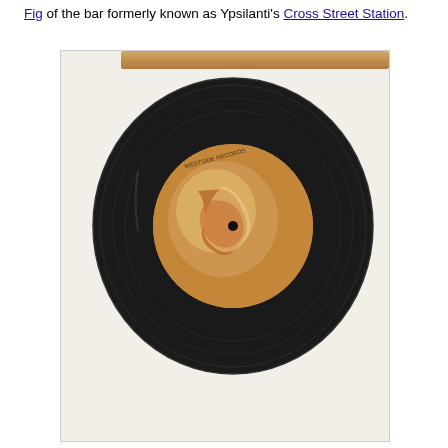Fig of the bar formerly known as Ypsilanti's Cross Street Station.
[Figure (photo): A black vinyl record (7-inch single) with a brown/tan label showing a graphic image, placed on a white surface with a wooden ledge visible at the top.]